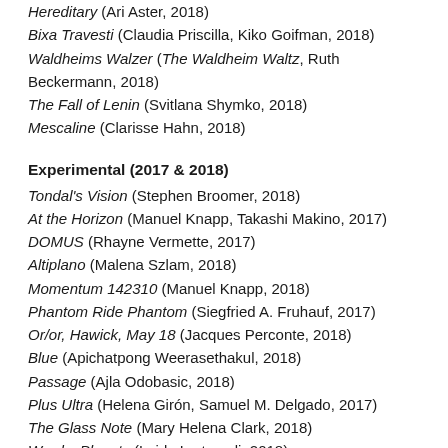Hereditary (Ari Aster, 2018)
Bixa Travesti (Claudia Priscilla, Kiko Goifman, 2018)
Waldheims Walzer (The Waldheim Waltz, Ruth Beckermann, 2018)
The Fall of Lenin (Svitlana Shymko, 2018)
Mescaline (Clarisse Hahn, 2018)
Experimental (2017 & 2018)
Tondal's Vision (Stephen Broomer, 2018)
At the Horizon (Manuel Knapp, Takashi Makino, 2017)
DOMUS (Rhayne Vermette, 2017)
Altiplano (Malena Szlam, 2018)
Momentum 142310 (Manuel Knapp, 2018)
Phantom Ride Phantom (Siegfried A. Fruhauf, 2017)
Or/or, Hawick, May 18 (Jacques Perconte, 2018)
Blue (Apichatpong Weerasethakul, 2018)
Passage (Ajla Odobasic, 2018)
Plus Ultra (Helena Girón, Samuel M. Delgado, 2017)
The Glass Note (Mary Helena Clark, 2018)
Words, Planets (Laida Lertxundi, 2018)
Black Pond (Jessica Sarah Rinland, 2018)
Never Twice the Same Color (Guli Silberstein 2018)
Makota Shioji (Ute Aurand, 2018)